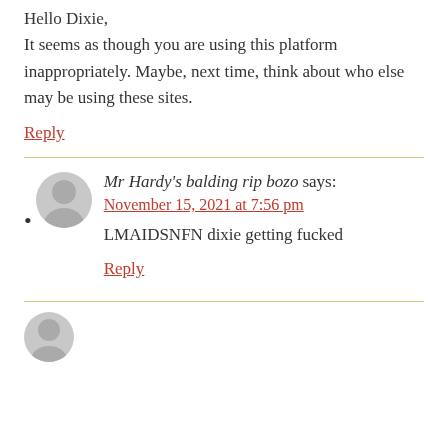Hello Dixie,
It seems as though you are using this platform inappropriately. Maybe, next time, think about who else may be using these sites.
Reply
Mr Hardy's balding rip bozo says:
November 15, 2021 at 7:56 pm
LMAIDSNFN dixie getting fucked
Reply